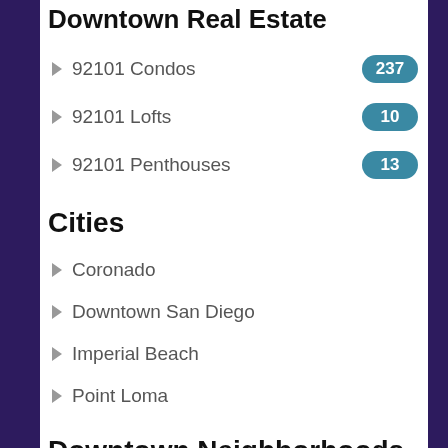Downtown Real Estate
92101 Condos
92101 Lofts
92101 Penthouses
Cities
Coronado
Downtown San Diego
Imperial Beach
Point Loma
Downtown Neighborhoods
Columbia District
Core
Cortez Hill
East Village